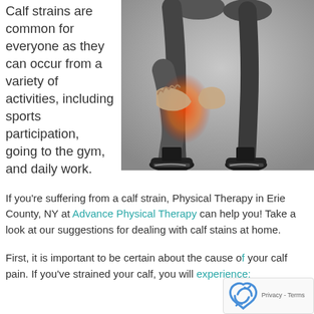Calf strains are common for everyone as they can occur from a variety of activities, including sports participation, going to the gym, and daily work.
[Figure (photo): Black and white photo of a person grabbing their calf muscle with a red highlight indicating pain/strain area, wearing athletic shoes.]
If you're suffering from a calf strain, Physical Therapy in Erie County, NY at Advance Physical Therapy can help you! Take a look at our suggestions for dealing with calf stains at home.
First, it is important to be certain about the cause of your calf pain. If you've strained your calf, you will experience: